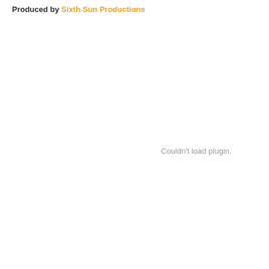Produced by Sixth Sun Productions
Couldn't load plugin.